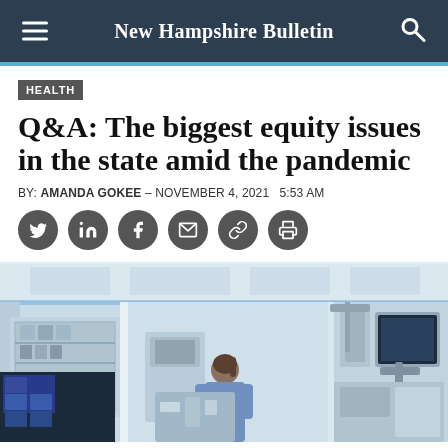New Hampshire Bulletin
HEALTH
Q&A: The biggest equity issues in the state amid the pandemic
BY: AMANDA GOKEE – NOVEMBER 4, 2021  5:53 AM
[Figure (other): Social media sharing icons: Twitter, LinkedIn, Facebook, Email, Link, Print]
[Figure (photo): A healthcare worker in blue scrubs leaning over medical equipment in a hospital setting with monitors and medical devices visible]